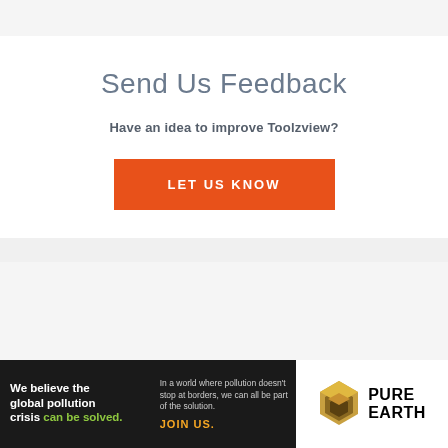Send Us Feedback
Have an idea to improve Toolzview?
LET US KNOW
[Figure (infographic): Advertisement banner for Pure Earth charity. Left side black background with white text reading 'We believe the global pollution crisis can be solved.' with 'can be solved.' in green. Center text: 'In a world where pollution doesn't stop at borders, we can all be part of the solution. JOIN US.' Right side white background with Pure Earth logo (diamond/arrow chevron icon in gold/brown) and text 'PURE EARTH' in black bold.]